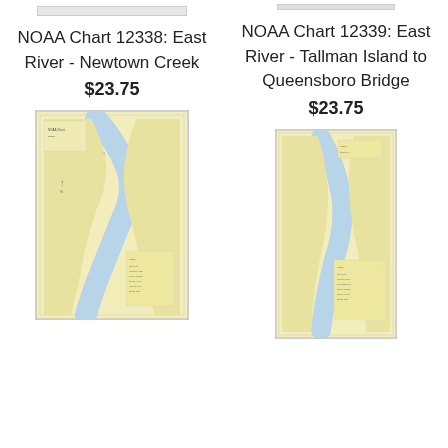NOAA Chart 12338: East River - Newtown Creek
$23.75
NOAA Chart 12339: East River - Tallman Island to Queensboro Bridge
$23.75
[Figure (map): NOAA nautical chart 12338 showing East River - Newtown Creek area, portrait orientation, light yellow/cream background with river channel]
[Figure (map): NOAA nautical chart 12339 showing East River - Tallman Island to Queensboro Bridge, portrait orientation, light yellow/cream background with river channel]